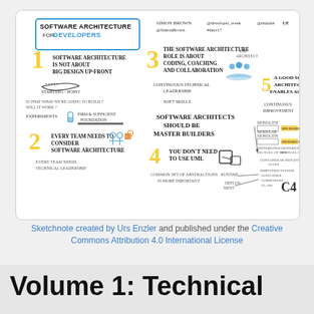[Figure (illustration): Sketchnote titled 'Software Architecture for Developers' by Simon Brown. Contains 5 illustrated points: 1) Software Architecture is not about big design up-front; 2) Every team needs to consider software architecture; 3) The software architecture role is about coding, coaching and collaboration (continuous technical leadership, soft skills); 4) You don't need to use UML - common set of abstractions is more important (C4 model); 5) A good software architecture enables agility (continuous improvement). Includes diagrams of people, buildings, boxes and arrows.]
Sketchnote created by Urs Enzler and published under the Creative Commons Attribution 4.0 International License
Volume 1: Technical